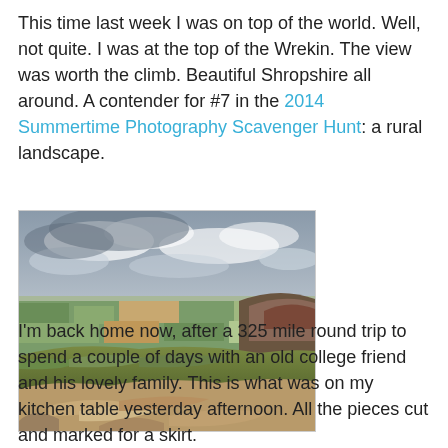This time last week I was on top of the world. Well, not quite. I was at the top of the Wrekin. The view was worth the climb. Beautiful Shropshire all around. A contender for #7 in the 2014 Summertime Photography Scavenger Hunt: a rural landscape.
[Figure (photo): Landscape photograph taken from the top of the Wrekin hill, showing a wide panoramic view of the Shropshire countryside with green fields, patches of brown farmland, distant hills, and a dramatic cloudy sky. Rocky ground visible in the foreground.]
I'm back home now, after a 325 mile round trip to spend a couple of days with an old college friend and his lovely family. This is what was on my kitchen table yesterday afternoon. All the pieces cut and marked for a skirt.